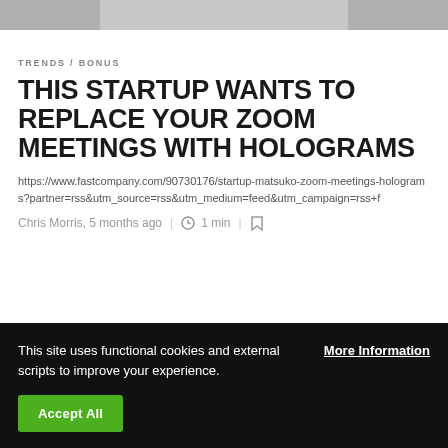[Figure (photo): Partial image at top of page, gray/cropped photo]
TRENDS / BONUS
THIS STARTUP WANTS TO REPLACE YOUR ZOOM MEETINGS WITH HOLOGRAMS
https://www.fastcompany.com/90730176/startup-matsuko-zoom-meetings-holograms?partner=rss&utm_source=rss&utm_medium=feed&utm_campaign=rss+f
Chris Morris, 5 months ago | 1 min |
This site uses functional cookies and external scripts to improve your experience. More Information Accept All